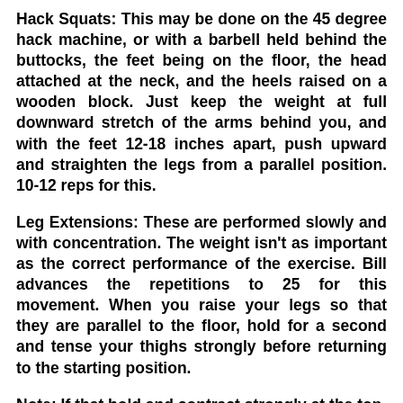Hack Squats: This may be done on the 45 degree hack machine, or with a barbell held behind the buttocks, the feet being on the floor, the head attached at the neck, and the heels raised on a wooden block. Just keep the weight at full downward stretch of the arms behind you, and with the feet 12-18 inches apart, push upward and straighten the legs from a parallel position. 10-12 reps for this.
Leg Extensions: These are performed slowly and with concentration. The weight isn't as important as the correct performance of the exercise. Bill advances the repetitions to 25 for this movement. When you raise your legs so that they are parallel to the floor, hold for a second and tense your thighs strongly before returning to the starting position.
Note: If that hold and contract strongly at the top